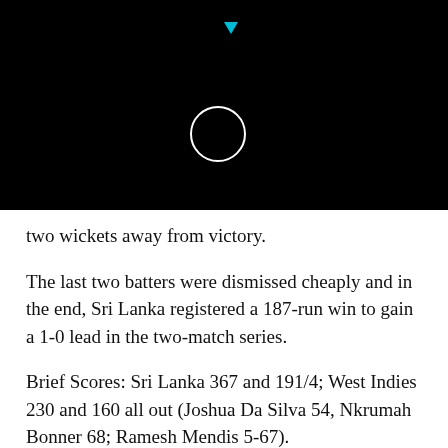[Figure (screenshot): Black video player background with a white circle icon and a cyan play/indicator triangle at top center]
two wickets away from victory.
The last two batters were dismissed cheaply and in the end, Sri Lanka registered a 187-run win to gain a 1-0 lead in the two-match series.
Brief Scores: Sri Lanka 367 and 191/4; West Indies 230 and 160 all out (Joshua Da Silva 54, Nkrumah Bonner 68; Ramesh Mendis 5-67).
RELATED TOPICS:
UP NEXT